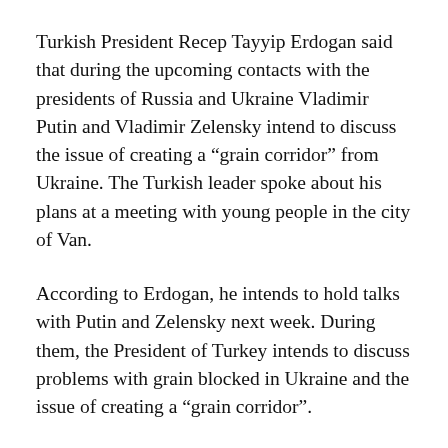Turkish President Recep Tayyip Erdogan said that during the upcoming contacts with the presidents of Russia and Ukraine Vladimir Putin and Vladimir Zelensky intend to discuss the issue of creating a “grain corridor” from Ukraine. The Turkish leader spoke about his plans at a meeting with young people in the city of Van.
According to Erdogan, he intends to hold talks with Putin and Zelensky next week. During them, the President of Turkey intends to discuss problems with grain blocked in Ukraine and the issue of creating a “grain corridor”.
At the same time, he stressed that Turkey itself has no problems in ensuring food security. “The whole world is in an economic impasse <...> We have no problem. We have 5 million tons of wheat in stocks.